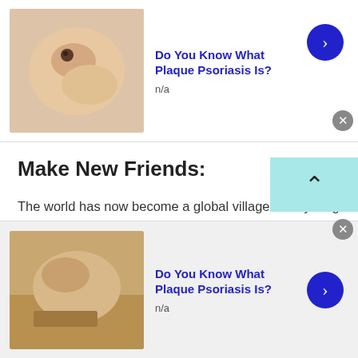[Figure (photo): Top ad banner with skin/mole close-up photo]
Do You Know What Plaque Psoriasis Is?
n/a
Make New Friends:
The world has now become a global village. Everything is interconnected when you chat with people of Uganda or any other. As compared to the early days of technology, when making new friends over different nationalities was just a fantasy. Now with the talkwithstranger platform, this thing has also been made possible. There are many people around the world that seek to make new friends of
[Figure (photo): Bottom ad banner with skin close-up photo]
Do You Know What Plaque Psoriasis Is?
n/a